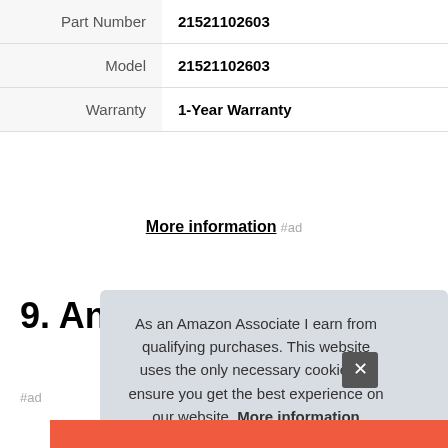| Part Number | 21521102603 |
| Model | 21521102603 |
| Warranty | 1-Year Warranty |
More information #ad
9. Anon
#ad
As an Amazon Associate I earn from qualifying purchases. This website uses the only necessary cookies to ensure you get the best experience on our website. More information